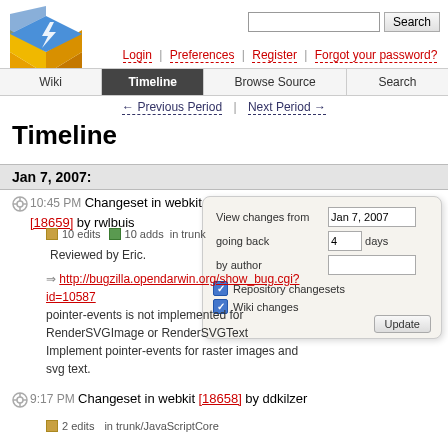[Figure (logo): Trac project logo with blue and yellow layered diamond shape]
Search
Login | Preferences | Register | Forgot your password?
Wiki | Timeline | Browse Source | Search
← Previous Period | Next Period →
Timeline
Jan 7, 2007:
View changes from Jan 7, 2007 going back 4 days by author  [checkboxes: Repository changesets, Wiki changes] Update
10:45 PM Changeset in webkit [18659] by rwlbuis
10 edits  10 adds  in trunk
Reviewed by Eric.
⇒ http://bugzilla.opendarwin.org/show_bug.cgi?id=10587
pointer-events is not implemented for RenderSVGImage or RenderSVGText
Implement pointer-events for raster images and svg text.
9:17 PM Changeset in webkit [18658] by ddkilzer
2 edits  in trunk/JavaScriptCore